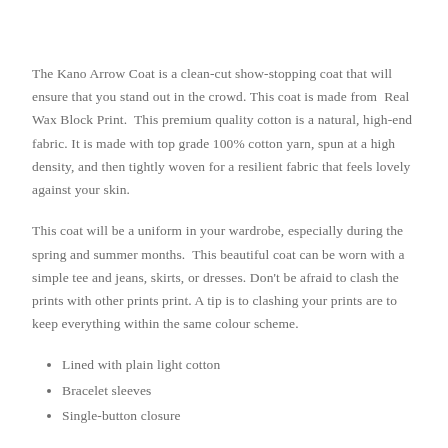The Kano Arrow Coat is a clean-cut show-stopping coat that will ensure that you stand out in the crowd. This coat is made from  Real Wax Block Print.  This premium quality cotton is a natural, high-end fabric. It is made with top grade 100% cotton yarn, spun at a high density, and then tightly woven for a resilient fabric that feels lovely against your skin.
This coat will be a uniform in your wardrobe, especially during the spring and summer months.  This beautiful coat can be worn with a simple tee and jeans, skirts, or dresses. Don't be afraid to clash the prints with other prints print. A tip is to clashing your prints are to keep everything within the same colour scheme.
Lined with plain light cotton
Bracelet sleeves
Single-button closure